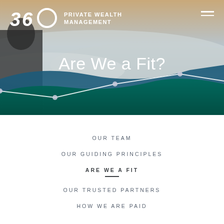[Figure (photo): Hero banner with a man looking out over clouds, with green and blue wave overlay graphic and 360 Private Wealth Management logo and hamburger menu]
Are We a Fit?
OUR TEAM
OUR GUIDING PRINCIPLES
ARE WE A FIT
OUR TRUSTED PARTNERS
HOW WE ARE PAID